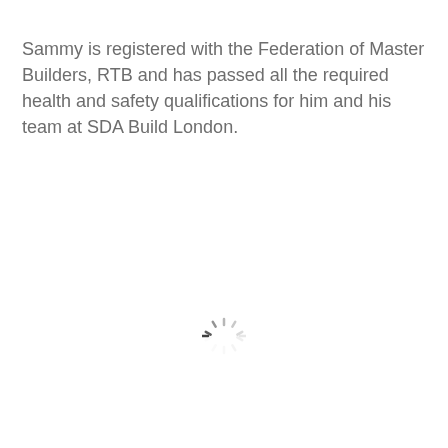Sammy is registered with the Federation of Master Builders, RTB and has passed all the required health and safety qualifications for him and his team at SDA Build London.
[Figure (other): Loading spinner icon — a circular arrangement of short dashes in varying shades of gray, indicating a loading state.]